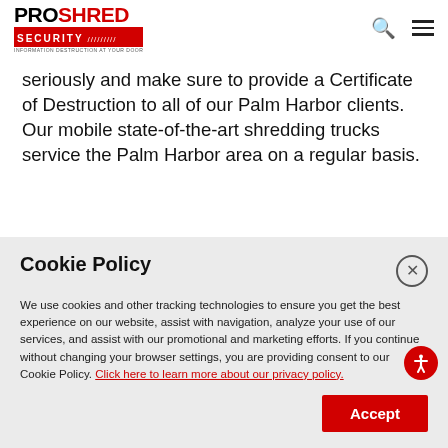[Figure (logo): PROSHRED SECURITY logo with red security bar and tagline 'Information Destruction At Your Door']
seriously and make sure to provide a Certificate of Destruction to all of our Palm Harbor clients. Our mobile state-of-the-art shredding trucks service the Palm Harbor area on a regular basis.
Cookie Policy
We use cookies and other tracking technologies to ensure you get the best experience on our website, assist with navigation, analyze your use of our services, and assist with our promotional and marketing efforts. If you continue without changing your browser settings, you are providing consent to our Cookie Policy. Click here to learn more about our privacy policy.